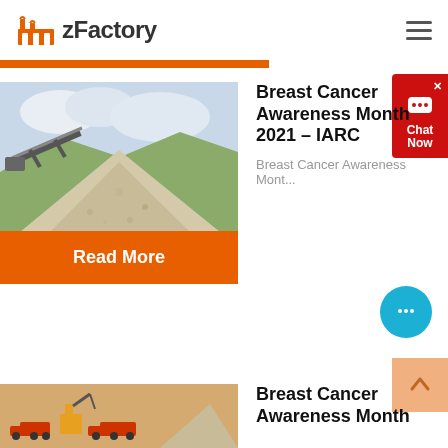zFactory
[Figure (screenshot): zFactory logo with orange factory icon and zFactory text in dark gray, hamburger menu icon on right]
[Figure (photo): Gravel/aggregate pile with conveyor belt machinery in outdoor industrial setting]
Breast Cancer Awareness Month 2021 – IARC
Breast Cancer Awareness Mont...
Read More
[Figure (screenshot): Red chat widget in top-right corner with close X, speech bubble icon, and Chat Now label]
[Figure (screenshot): Blue circular chat bubble floating button]
[Figure (screenshot): Light orange scroll-to-top button with up arrow]
[Figure (illustration): Isometric illustration of quarry/mining site with trucks and excavator]
Breast Cancer Awareness Month